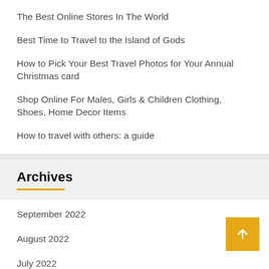The Best Online Stores In The World
Best Time to Travel to the Island of Gods
How to Pick Your Best Travel Photos for Your Annual Christmas card
Shop Online For Males, Girls & Children Clothing, Shoes, Home Decor Items
How to travel with others: a guide
Archives
September 2022
August 2022
July 2022
June 2022